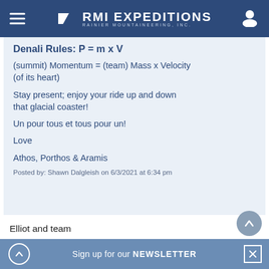RMI EXPEDITIONS — RAINIER MOUNTAINEERING, INC.
Denali Rules: P = m x V
(summit) Momentum = (team) Mass x Velocity (of its heart)
Stay present; enjoy your ride up and down that glacial coaster!
Un pour tous et tous pour un!
Love
Athos, Porthos & Aramis
Posted by: Shawn Dalgleish on 6/3/2021 at 6:34 pm
Elliot and team
Sign up for our NEWSLETTER